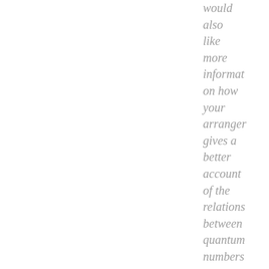would also like more information on how your arrangement gives a better account of the relations between quantum numbers than according to